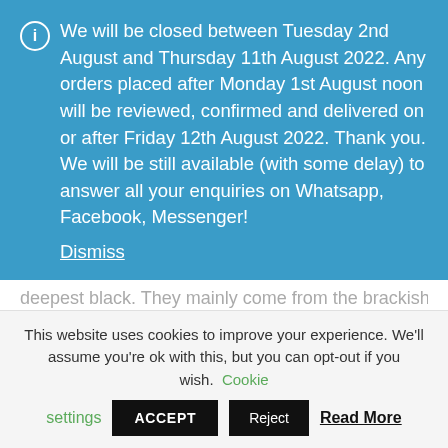We will be closed between Tuesday 2nd August and Thursday 11th August 2022. Any orders placed after Monday 1st August noon will be reviewed, confirmed and delivered on or after Friday 12th August 2022. Thank you. We will be still available (with some delay) to answer all your enquiries on Whatsapp, Facebook, Messenger! Dismiss
deepest black. They mainly come from the brackish waters of Thailand, but can also be found in other parts of Asia.  They can thrive in freshwater, but will only breed in brackish water.
This website uses cookies to improve your experience. We'll assume you're ok with this, but you can opt-out if you wish. Cookie settings ACCEPT Reject Read More